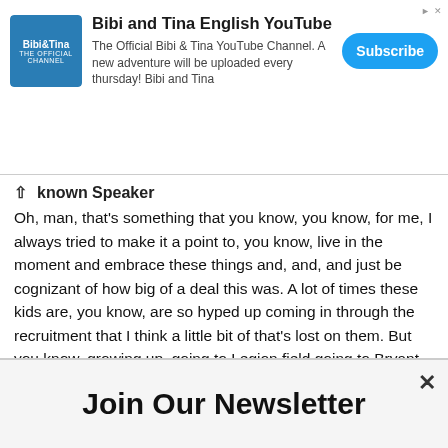[Figure (other): Advertisement banner for Bibi and Tina English YouTube channel with logo, description text, and Subscribe button]
known Speaker
Oh, man, that's something that you know, you know, for me, I always tried to make it a point to, you know, live in the moment and embrace these things and, and, and just be cognizant of how big of a deal this was. A lot of times these kids are, you know, are so hyped up coming in through the recruitment that I think a little bit of that's lost on them. But you know, growing up, going to Legion field going to Bryant, Denny stadium and wanting to want that to happen for me. So at some point, you know, it was never lost on me. But as the years go on, and I was lucky enough to play a lot of football for Alabama. And so you know, you get a little used to a little desensitized to it. But I don't know what was a bigger emotional moment, the first time that that I ran on
Join Our Newsletter